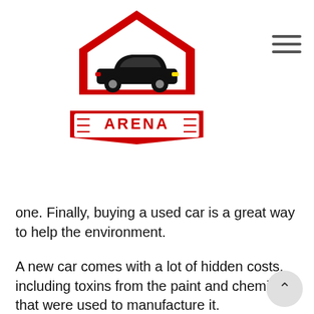[Figure (logo): Arena auto dealership logo: red house/garage shape with a black muscle car silhouette inside, and ARENA text badge below in red on white with decorative border]
one. Finally, buying a used car is a great way to help the environment.
A new car comes with a lot of hidden costs, including toxins from the paint and chemicals that were used to manufacture it. Furthermore, many dealerships will sell new cars with excess inventory which only adds to these problems.
There are several reasons why buying a used car is always a good option.
First, your wallet will thank you because you can save